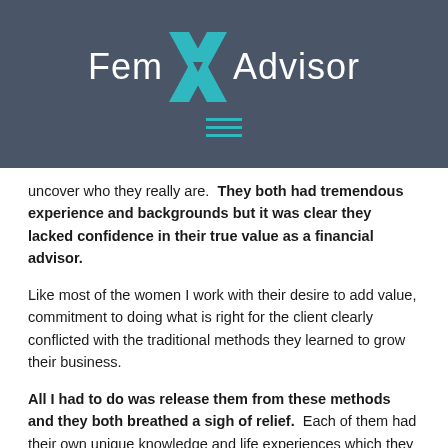[Figure (logo): FemX Advisor logo with teal X graphic on dark slate background with hamburger menu icon below]
uncover who they really are.  They both had tremendous experience and backgrounds but it was clear they lacked confidence in their true value as a financial advisor.
Like most of the women I work with their desire to add value, commitment to doing what is right for the client clearly conflicted with the traditional methods they learned to grow their business.
All I had to do was release them from these methods and they both breathed a sigh of relief.  Each of them had their own unique knowledge and life experiences which they had yet to tap into. As we move forward in the coaching process these same experiences will